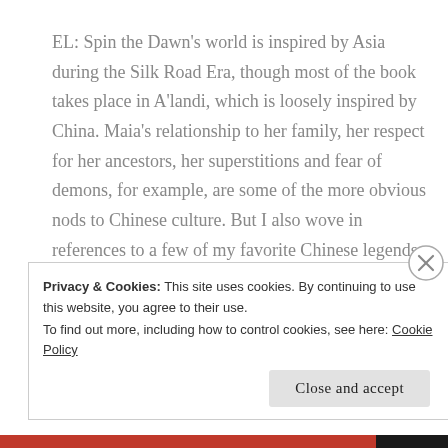EL: Spin the Dawn's world is inspired by Asia during the Silk Road Era, though most of the book takes place in A'landi, which is loosely inspired by China. Maia's relationship to her family, her respect for her ancestors, her superstitions and fear of demons, for example, are some of the more obvious nods to Chinese culture. But I also wove in references to a few of my favorite Chinese legends, like Chang'e and Houyi and the Cowherd and the Weaver.
Privacy & Cookies: This site uses cookies. By continuing to use this website, you agree to their use.
To find out more, including how to control cookies, see here: Cookie Policy
Close and accept